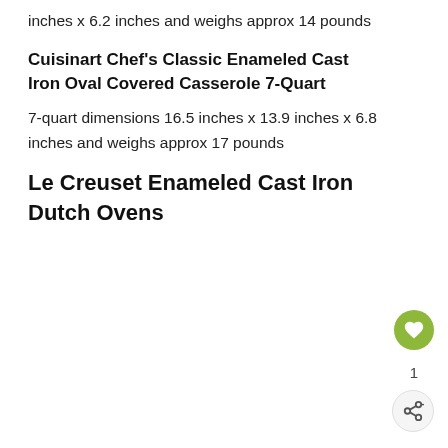inches x 6.2 inches and weighs approx 14 pounds
Cuisinart Chef's Classic Enameled Cast Iron Oval Covered Casserole 7-Quart
7-quart dimensions 16.5 inches x 13.9 inches x 6.8 inches and weighs approx 17 pounds
Le Creuset Enameled Cast Iron Dutch Ovens